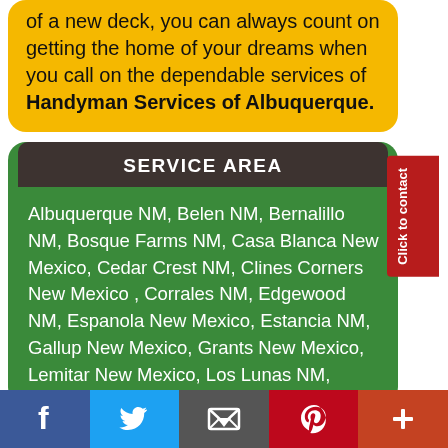of a new deck, you can always count on getting the home of your dreams when you call on the dependable services of Handyman Services of Albuquerque.
SERVICE AREA
Albuquerque NM, Belen NM, Bernalillo NM, Bosque Farms NM, Casa Blanca New Mexico, Cedar Crest NM, Clines Corners New Mexico , Corrales NM, Edgewood NM, Espanola New Mexico, Estancia NM, Gallup New Mexico, Grants New Mexico, Lemitar New Mexico, Los Lunas NM,